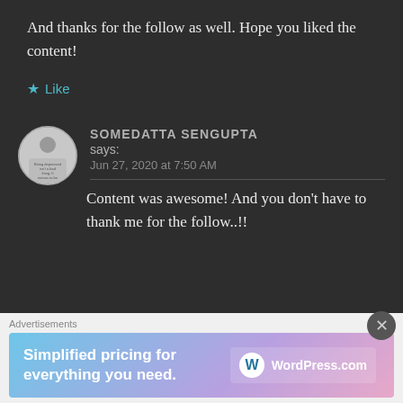And thanks for the follow as well. Hope you liked the content!
Like
SOMEDATTA SENGUPTA says:
Jun 27, 2020 at 7:50 AM
Content was awesome! And you don't have to thank me for the follow..!!
Advertisements
Simplified pricing for everything you need. WordPress.com